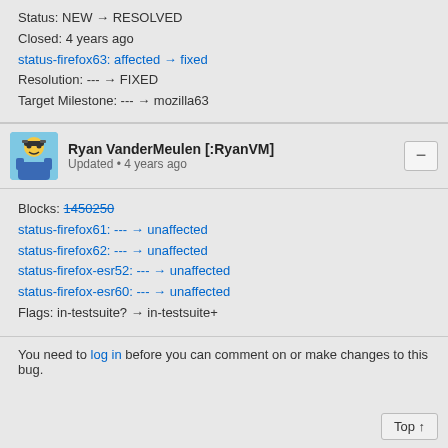Status: NEW → RESOLVED
Closed: 4 years ago
status-firefox63: affected → fixed
Resolution: --- → FIXED
Target Milestone: --- → mozilla63
Ryan VanderMeulen [:RyanVM]
Updated • 4 years ago
Blocks: 1450250
status-firefox61: --- → unaffected
status-firefox62: --- → unaffected
status-firefox-esr52: --- → unaffected
status-firefox-esr60: --- → unaffected
Flags: in-testsuite? → in-testsuite+
You need to log in before you can comment on or make changes to this bug.
Top ↑